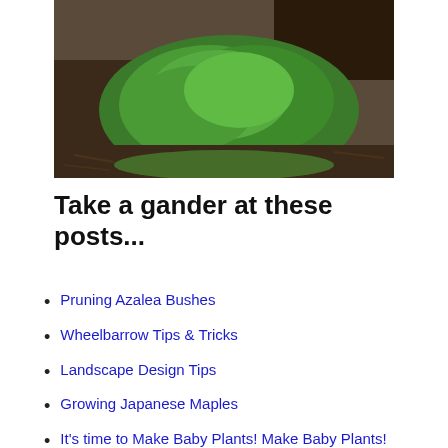[Figure (photo): Outdoor garden photo showing a mound of green bushy plants surrounded by dark wood chip mulch and soil]
Take a gander at these posts...
Pruning Azalea Bushes
Wheelbarrow Tips & Tricks
Landscape Design Tips
Growing Japanese Maples
It's time to Make Baby Plants! Make Baby Plants! Make Baby Plants!